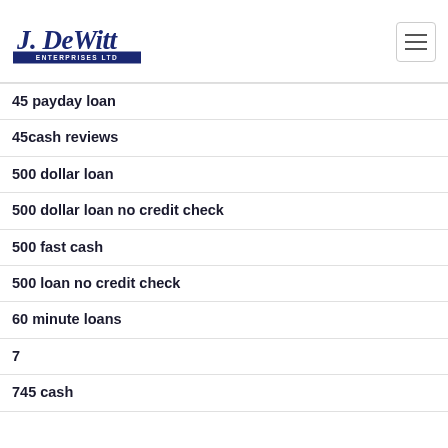[Figure (logo): J. DeWitt Enterprises Ltd logo - blue script text 'J. DeWitt' above blue banner with 'ENTERPRISES LTD']
45 payday loan
45cash reviews
500 dollar loan
500 dollar loan no credit check
500 fast cash
500 loan no credit check
60 minute loans
7
745 cash